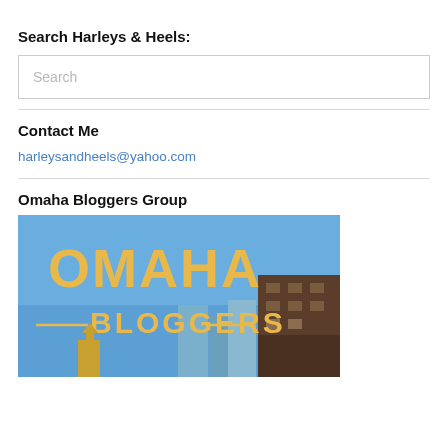Search Harleys & Heels:
Search
Contact Me
harleysandheels@yahoo.com
Omaha Bloggers Group
[Figure (illustration): Omaha Bloggers group logo with blue sky background and city skyline, showing large golden/yellow text 'OMAHA' and 'BLOGGERS' with decorative lines]